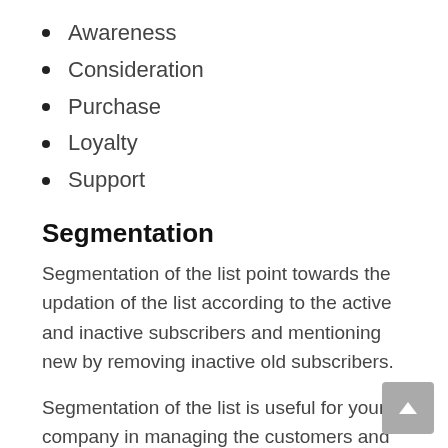Awareness
Consideration
Purchase
Loyalty
Support
Segmentation
Segmentation of the list point towards the updation of the list according to the active and inactive subscribers and mentioning new by removing inactive old subscribers.
Segmentation of the list is useful for your company in managing the customers and increase the sale.